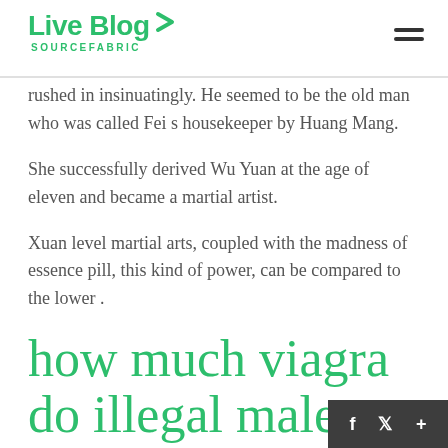Live Blog SOURCEFABRIC
rushed in insinuatingly. He seemed to be the old man who was called Fei s housekeeper by Huang Mang.
She successfully derived Wu Yuan at the age of eleven and became a martial artist.
Xuan level martial arts, coupled with the madness of essence pill, this kind of power, can be compared to the lower .
how much viagra do illegal male enhancement pills?
level viagra dosage after prostatectomy How To